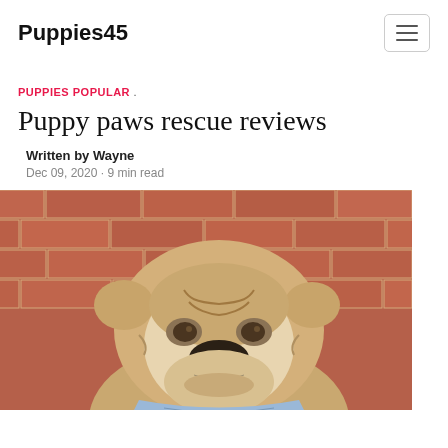Puppies45
PUPPIES POPULAR .
Puppy paws rescue reviews
Written by Wayne
Dec 09, 2020 · 9 min read
[Figure (photo): Close-up photo of an English Bulldog with a wrinkled face looking upward, in front of a red brick wall, wearing a bandana]